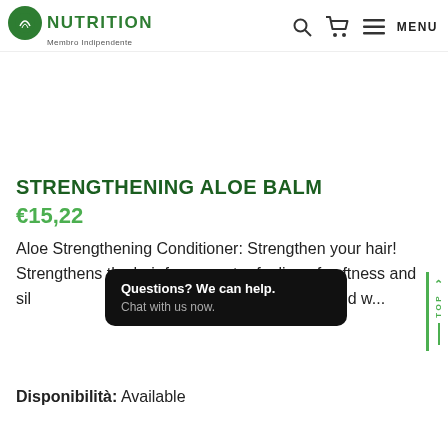NUTRITION Membro Indipendente — MENU
STRENGTHENING ALOE BALM
€15,22
Aloe Strengthening Conditioner: Strengthen your hair! Strengthens the hair for a greater feeling of softness and silkiness from the first application Adv...hed w...
Disponibilità: Available